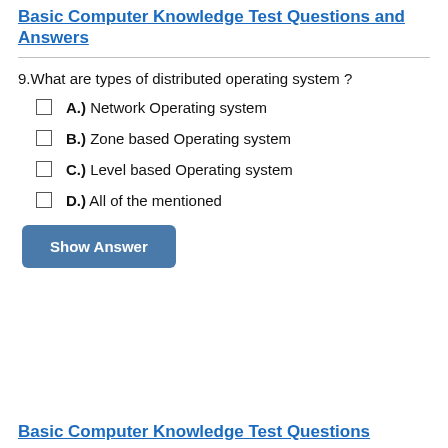Basic Computer Knowledge Test Questions and Answers
9.What are types of distributed operating system ?
A.) Network Operating system
B.) Zone based Operating system
C.) Level based Operating system
D.) All of the mentioned
Show Answer
Basic Computer Knowledge Test Questions